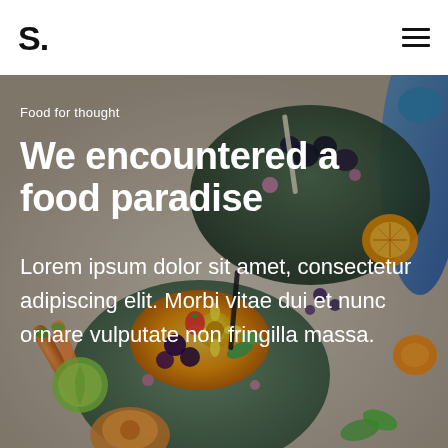S.
[Figure (photo): Colorful fruit and vegetable smoothie bowls with garnishes including berries, flowers, oranges, carrots, and mint leaves on a flat lay surface]
Food for thought
We encountered a food paradise
Lorem ipsum dolor sit amet, consectetur adipiscing elit. Morbi vitae dui et nunc ornare vulputate non fringilla massa.